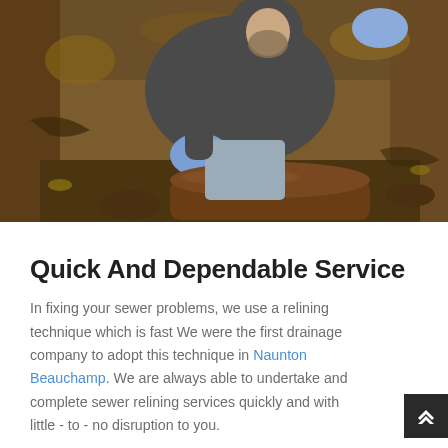[Figure (photo): A worker wearing blue gloves kneeling in an excavated trench, working on an old brown pipe or sewer line surrounded by soil and roots.]
Quick And Dependable Service
In fixing your sewer problems, we use a relining technique which is fast We were the first drainage company to adopt this technique in Naunton Beauchamp. We are always able to undertake and complete sewer relining services quickly and with little - to - no disruption to you.